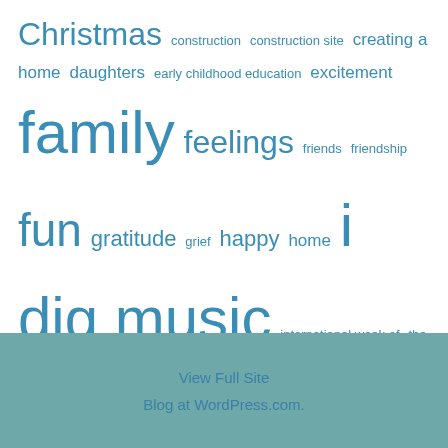[Figure (infographic): Tag cloud with blog post categories in varying font sizes, all in blue. Tags include: Christmas, construction, construction site, creating a home, daughters, early childhood education, excitement, family, feelings, friends, friendship, fun, gratitude, grief, happy, home, i dig music, international week of the birthday, it's all happening, joy, life, loss, love, love my life, motherhood, mothers and daughters, music, new build, new construction, new home, parenting, peace, playful, relationships, sadness, self quarantine, silly, social distancing, Thing 1, Thing 2, tune for Tuesday, unconditional love, YBW]
View Full Site
Blog at WordPress.com.